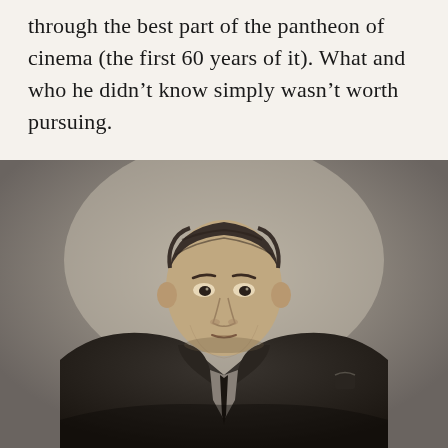through the best part of the pantheon of cinema (the first 60 years of it). What and who he didn't know simply wasn't worth pursuing.
[Figure (photo): Black and white portrait photograph of a man in a dark suit with a tie, looking directly at the camera with a slight lean forward. His hair is neatly combed back. The background is a plain studio backdrop.]